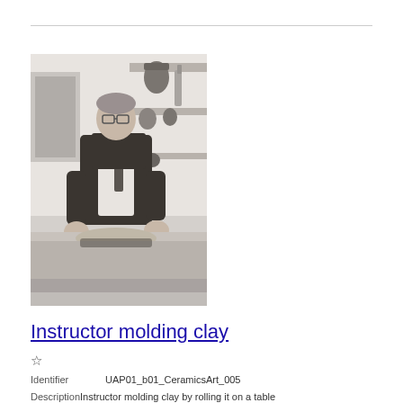[Figure (photo): Black and white photograph of an instructor (man in overalls and glasses) molding clay on a table in a ceramics studio, with pottery and shelves visible in the background.]
Instructor molding clay
☆
Identifier    UAP01_b01_CeramicsArt_005
DescriptionInstructor molding clay by rolling it on a table